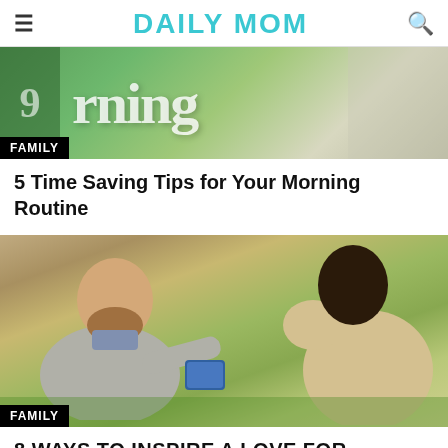DAILY MOM
[Figure (photo): Cropped image showing morning routine text and green background with FAMILY category badge overlay]
5 Time Saving Tips for Your Morning Routine
[Figure (photo): Man and pregnant woman sitting on grass outdoors, man holding a book to her belly, FAMILY category badge overlay]
8 WAYS TO INSPIRE A LOVE FOR